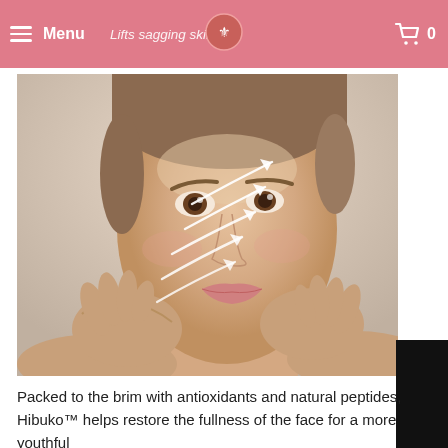Menu   Lifts sagging skin   0
[Figure (photo): Woman touching her face with both hands, with white lifting arrows overlaid on her cheek illustrating skin lifting effect. Background is light grey.]
Packed to the brim with antioxidants and natural peptides, Hibuko™ helps restore the fullness of the face for a more youthful...